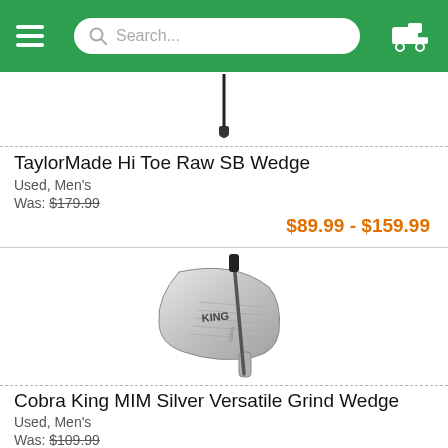Search...
[Figure (photo): Top portion of a TaylorMade golf club (wedge) shaft and head, partially visible]
TaylorMade Hi Toe Raw SB Wedge
Used, Men's
Was: $179.99
$89.99 - $159.99
[Figure (photo): Cobra King MIM Silver Versatile Grind Wedge - chrome/silver golf wedge club head and shaft]
Cobra King MIM Silver Versatile Grind Wedge
Used, Men's
Was: $109.99
$69.99 - $109.99